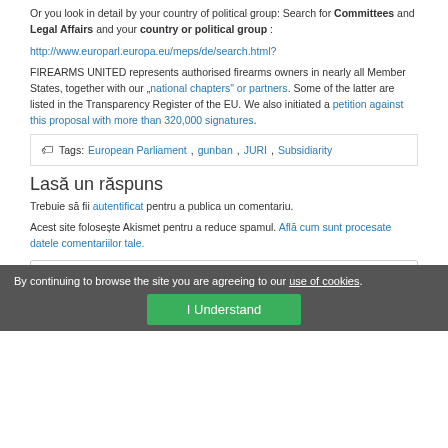Or you look in detail by your country of political group: Search for Committees and Legal Affairs and your country or political group:
http://www.europarl.europa.eu/meps/de/search.html?
FIREARMS UNITED represents authorised firearms owners in nearly all Member States, together with our „national chapters“ or partners. Some of the latter are listed in the Transparency Register of the EU. We also initiated a petition against this proposal with more than 320,000 signatures.
Tags: European Parliament, gunban, JURI, Subsidiarity
Lasă un răspuns
Trebuie să fii autentificat pentru a publica un comentariu.
Acest site foloseşte Akismet pentru a reduce spamul. Află cum sunt procesate datele comentariilor tale.
Articole recente
By continuing to browse the site you are agreeing to our use of cookies. I Understand